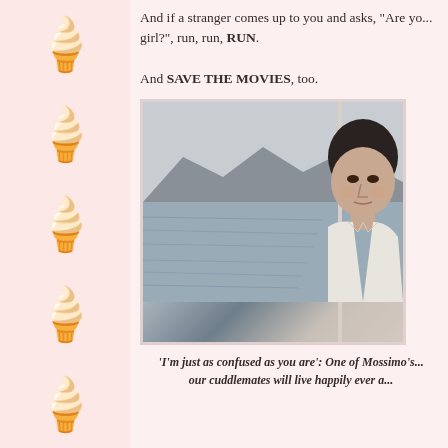[Figure (illustration): Decorative left strip with repeating hot chocolate / ice cream emoji illustrations on a light pink background]
And if a stranger comes up to you and asks, "Are yo... girl?", run, run, RUN.

And SAVE THE MOVIES, too.
[Figure (photo): A middle-aged man in a white shirt standing near a window with an ocean and misty mountains in the background, looking pensively to the side]
'I'm just as confused as you are': One of Mossimo's... our cuddlemates will live happily ever a...